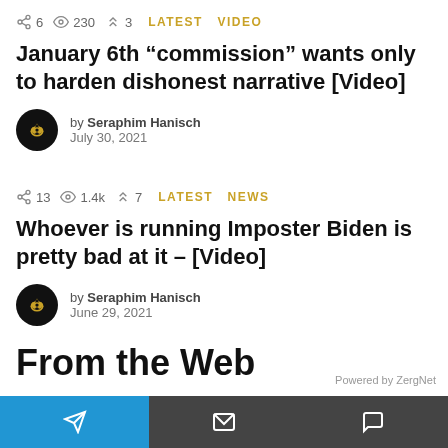6   230   3   LATEST VIDEO
January 6th “commission” wants only to harden dishonest narrative [Video]
by Seraphim Hanisch
July 30, 2021
13   1.4k   7   LATEST NEWS
Whoever is running Imposter Biden is pretty bad at it – [Video]
by Seraphim Hanisch
June 29, 2021
From the Web
Powered by ZergNet
Telegram   Email   Comment